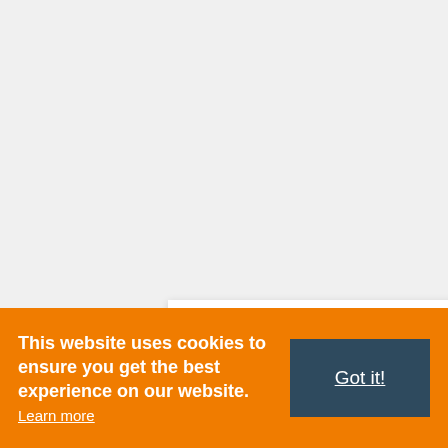Andrew East Quiz | Test, Bio, Birthday, Net Worth, Height Family
Andrew East Quiz How well do you know about...
This website uses cookies to ensure you get the best experience on our website. Learn more